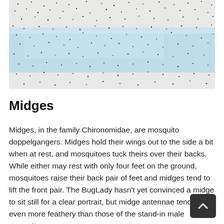[Figure (photo): Aerial or wide-angle photo of a large swarm of midges (tiny flying insects) over a light blue water surface or frosted background. Hundreds of small dark specks visible scattered across the image.]
Midges
Midges, in the family Chironomidae, are mosquito doppelgangers. Midges hold their wings out to the side a bit when at rest, and mosquitoes tuck theirs over their backs. While either may rest with only four feet on the ground, mosquitoes raise their back pair of feet and midges tend to lift the front pair. The BugLady hasn't yet convinced a midge to sit still for a clear portrait, but midge antennae tend to be even more feathery than those of the stand-in male mosquito